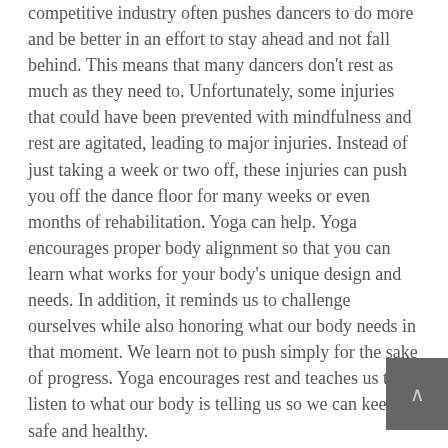competitive industry often pushes dancers to do more and be better in an effort to stay ahead and not fall behind. This means that many dancers don't rest as much as they need to. Unfortunately, some injuries that could have been prevented with mindfulness and rest are agitated, leading to major injuries. Instead of just taking a week or two off, these injuries can push you off the dance floor for many weeks or even months of rehabilitation. Yoga can help. Yoga encourages proper body alignment so that you can learn what works for your body's unique design and needs. In addition, it reminds us to challenge ourselves while also honoring what our body needs in that moment. We learn not to push simply for the sake of progress. Yoga encourages rest and teaches us to listen to what our body is telling us so we can keep it safe and healthy.
#5 Discipline